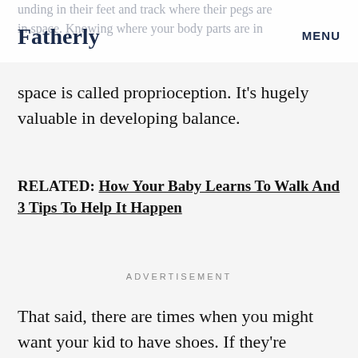Fatherly   MENU
unding in their feet and track where their pegs are in space. Knowing where your body parts are in
space is called proprioception. It's hugely valuable in developing balance.
RELATED: How Your Baby Learns To Walk And 3 Tips To Help It Happen
ADVERTISEMENT
That said, there are times when you might want your kid to have shoes. If they're practicing outside, you'll